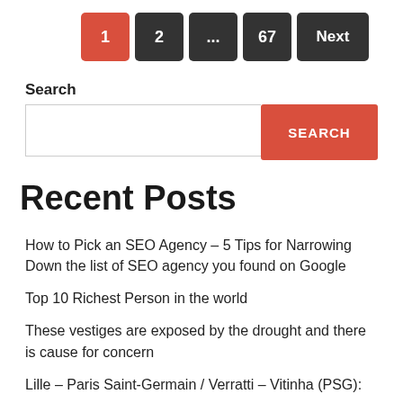1 2 ... 67 Next (pagination)
Search
SEARCH (button)
Recent Posts
How to Pick an SEO Agency – 5 Tips for Narrowing Down the list of SEO agency you found on Google
Top 10 Richest Person in the world
These vestiges are exposed by the drought and there is cause for concern
Lille – Paris Saint-Germain / Verratti – Vitinha (PSG):